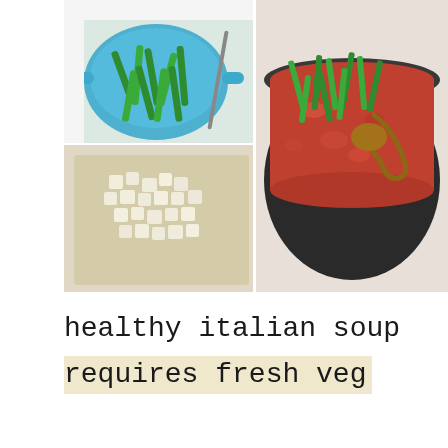[Figure (photo): A collage of three food preparation photos: top-left shows green beans in a blue colander with a knife, bottom-left shows diced white potatoes on a cutting board, and right side shows a large pot of tomato-based Italian soup with green beans being added via a ladle.]
healthy italian soup
requires fresh veg